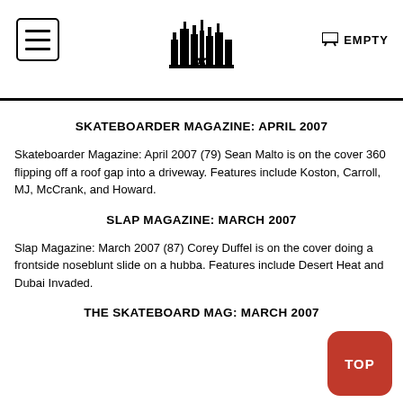EMPTY
SKATEBOARDER MAGAZINE: APRIL 2007
Skateboarder Magazine: April 2007 (79) Sean Malto is on the cover 360 flipping off a roof gap into a driveway. Features include Koston, Carroll, MJ, McCrank, and Howard.
SLAP MAGAZINE: MARCH 2007
Slap Magazine: March 2007 (87) Corey Duffel is on the cover doing a frontside noseblunt slide on a hubba. Features include Desert Heat and Dubai Invaded.
THE SKATEBOARD MAG: MARCH 2007